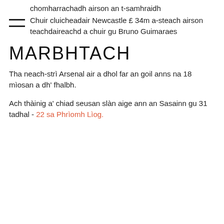chomharrachadh airson an t-samhraidh
Chuir cluicheadair Newcastle £34m a-steach airson teachdaireachd a chuir gu Bruno Guimaraes
MARBHTACH
Tha neach-strì Arsenal air a dhol far an goil anns na 18 mìosan a dh' fhalbh.
Ach thàinig a' chiad seusan slàn aige ann an Sasainn gu 31 tadhal - 22 sa Phrìomh Lìog.